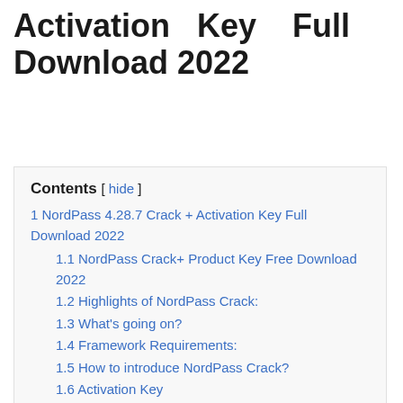Activation Key Full Download 2022
Contents [ hide ]
1 NordPass 4.28.7 Crack + Activation Key Full Download 2022
1.1 NordPass Crack+ Product Key Free Download 2022
1.2 Highlights of NordPass Crack:
1.3 What's going on?
1.4 Framework Requirements:
1.5 How to introduce NordPass Crack?
1.6 Activation Key
1.7 Product Key
1.8 Share this:
1.9 Related